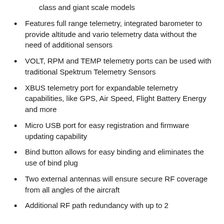class and giant scale models
Features full range telemetry, integrated barometer to provide altitude and vario telemetry data without the need of additional sensors
VOLT, RPM and TEMP telemetry ports can be used with traditional Spektrum Telemetry Sensors
XBUS telemetry port for expandable telemetry capabilities, like GPS, Air Speed, Flight Battery Energy and more
Micro USB port for easy registration and firmware updating capability
Bind button allows for easy binding and eliminates the use of bind plug
Two external antennas will ensure secure RF coverage from all angles of the aircraft
Additional RF path redundancy with up to 2